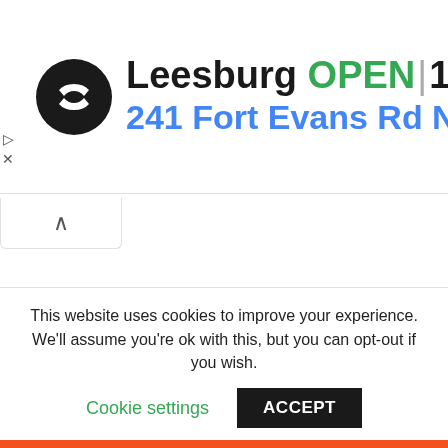[Figure (screenshot): Store listing banner showing Leesburg location: circular black logo with double-arrow icon, text 'Leesburg OPEN | 10AM–7PM' and address '241 Fort Evans Rd NE, Leesb', blue diamond navigation icon on right]
This website uses cookies to improve your experience. We'll assume you're ok with this, but you can opt-out if you wish.
Cookie settings   ACCEPT